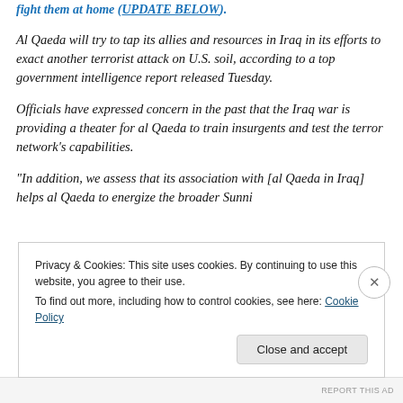fight them at home (UPDATE BELOW).
Al Qaeda will try to tap its allies and resources in Iraq in its efforts to exact another terrorist attack on U.S. soil, according to a top government intelligence report released Tuesday.
Officials have expressed concern in the past that the Iraq war is providing a theater for al Qaeda to train insurgents and test the terror network’s capabilities.
“In addition, we assess that its association with [al Qaeda in Iraq] helps al Qaeda to energize the broader Sunni
Privacy & Cookies: This site uses cookies. By continuing to use this website, you agree to their use.
To find out more, including how to control cookies, see here: Cookie Policy
Close and accept